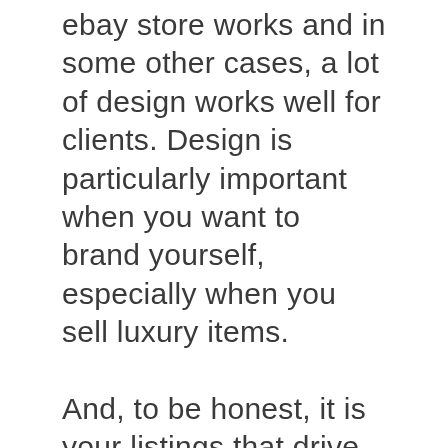ebay store works and in some other cases, a lot of design works well for clients. Design is particularly important when you want to brand yourself, especially when you sell luxury items.
And, to be honest, it is your listings that drive the sales. Based on our research, an ebay store